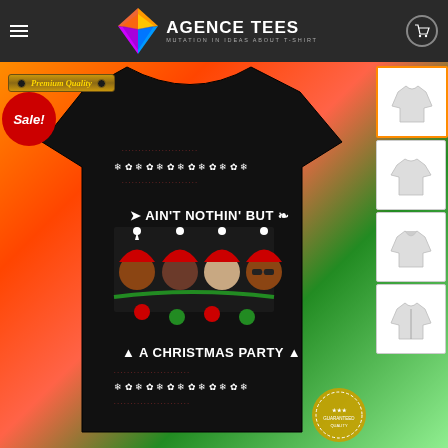AGENCE TEES - MUTATION IN IDEAS ABOUT T-SHIRT
[Figure (photo): E-commerce product page showing a black Christmas ugly sweater t-shirt with cartoon hip-hop artists wearing Santa hats, text 'AIN'T NOTHIN' BUT A CHRISTMAS PARTY', displayed on a colorful background with Premium Quality badge and Sale badge. Thumbnail style selector on the right.]